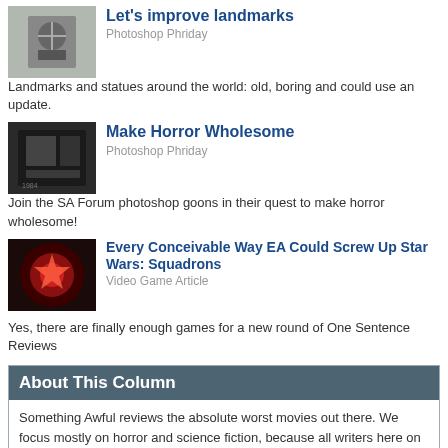Let's improve landmarks
Photoshop Phriday
Landmarks and statues around the world: old, boring and could use an update.
Make Horror Wholesome
Photoshop Phriday
Join the SA Forum photoshop goons in their quest to make horror wholesome!
Every Conceivable Way EA Could Screw Up Star Wars: Squadrons
Video Game Article
Yes, there are finally enough games for a new round of One Sentence Reviews
About This Column
Something Awful reviews the absolute worst movies out there. We focus mostly on horror and science fiction, because all writers here on Something Awful are huge nerds.
Previous Articles
The Curse of King Tut's Tomb, Part 2
The Curse of King Tut's Tomb, Part 1
Curse of the Zodiac